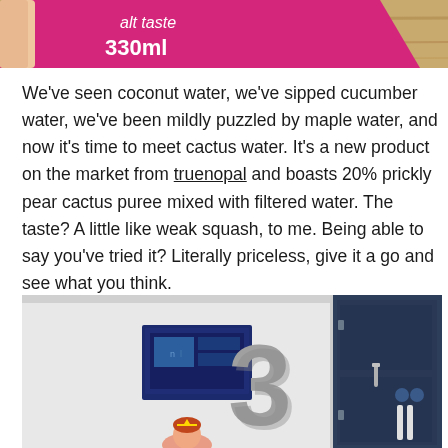[Figure (photo): Partial photo of a pink/magenta can or package showing text 'alt taste' and '330ml' held by fingers against a wooden background]
We've seen coconut water, we've sipped cucumber water, we've been mildly puzzled by maple water, and now it's time to meet cactus water. It's a new product on the market from truenopal and boasts 20% prickly pear cactus puree mixed with filtered water. The taste? A little like weak squash, to me. Being able to say you've tried it? Literally priceless, give it a go and see what you think.
[Figure (photo): Photo of a white wall with a large 3D number '3' mounted on it, a small blue screen/panel to the left, and a dark blue door to the right, with a small cartoon character visible at the bottom]